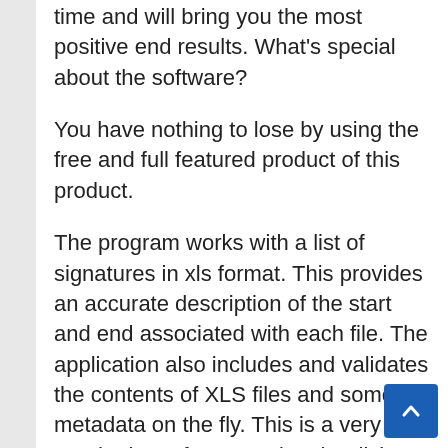time and will bring you the most positive end results. What's special about the software?
You have nothing to lose by using the free and full featured product of this product.
The program works with a list of signatures in xls format. This provides an accurate description of the start and end associated with each file. The application also includes and validates the contents of XLS files and some metadata on the fly. This is a very good price. After scanning the disk, you can now view all found files, as well as restore only the requested files or found information. DiskInternals Recovery Excel works with all MS Excel settings in Windows operating system.